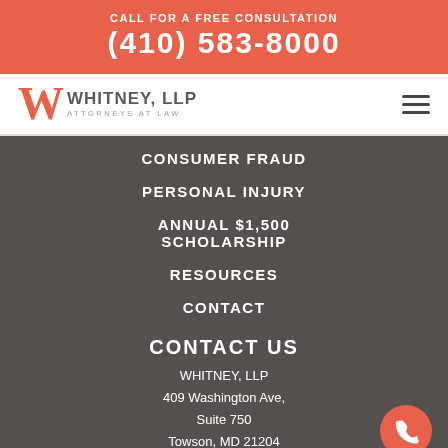CALL FOR A FREE CONSULTATION
(410) 583-8000
[Figure (logo): Whitney, LLP Attorneys at Law logo with stylized W]
CONSUMER FRAUD
PERSONAL INJURY
ANNUAL $1,500 SCHOLARSHIP
RESOURCES
CONTACT
CONTACT US
WHITNEY, LLP
409 Washington Ave,
Suite 750
Towson, MD 21204